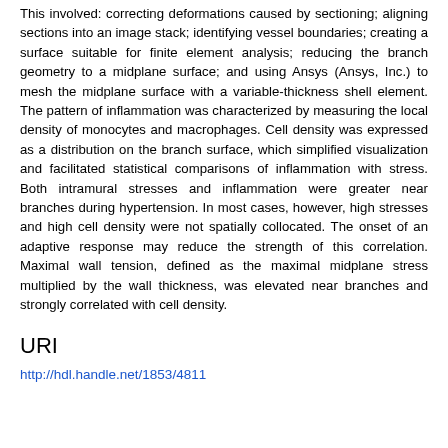This involved: correcting deformations caused by sectioning; aligning sections into an image stack; identifying vessel boundaries; creating a surface suitable for finite element analysis; reducing the branch geometry to a midplane surface; and using Ansys (Ansys, Inc.) to mesh the midplane surface with a variable-thickness shell element. The pattern of inflammation was characterized by measuring the local density of monocytes and macrophages. Cell density was expressed as a distribution on the branch surface, which simplified visualization and facilitated statistical comparisons of inflammation with stress. Both intramural stresses and inflammation were greater near branches during hypertension. In most cases, however, high stresses and high cell density were not spatially collocated. The onset of an adaptive response may reduce the strength of this correlation. Maximal wall tension, defined as the maximal midplane stress multiplied by the wall thickness, was elevated near branches and strongly correlated with cell density.
URI
http://hdl.handle.net/1853/4811